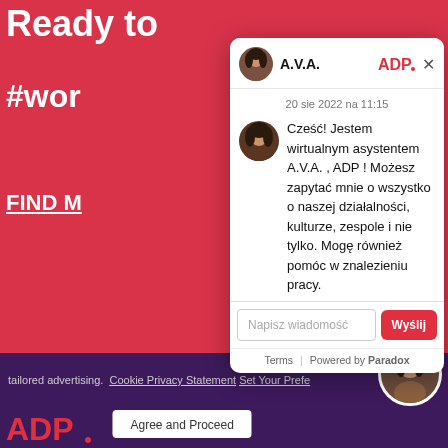[Figure (screenshot): ADP chatbot A.V.A. modal popup overlaid on ADP website. Background shows red section with partial text 'Ready to #wor' and 'FIND M', navy lower section with ADP logo, and purple cookie consent bar. Chatbot modal shows avatar, A.V.A. name, ADP logo, close button, timestamp '20 sie 2022 na 11:15', bot message in Polish, message input field with 'Napisz wiadomość' placeholder, 'Wyślij' send button, and footer with 'Terms | Powered by Paradox'.]